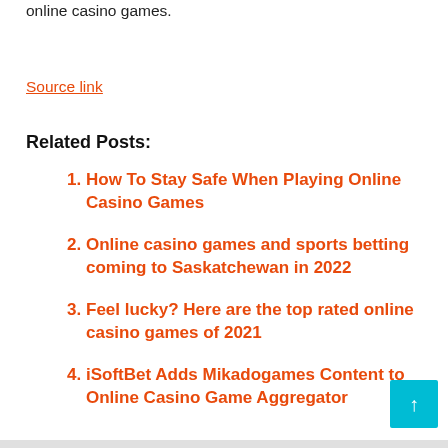online casino games.
Source link
Related Posts:
How To Stay Safe When Playing Online Casino Games
Online casino games and sports betting coming to Saskatchewan in 2022
Feel lucky? Here are the top rated online casino games of 2021
iSoftBet Adds Mikadogames Content to Online Casino Game Aggregator